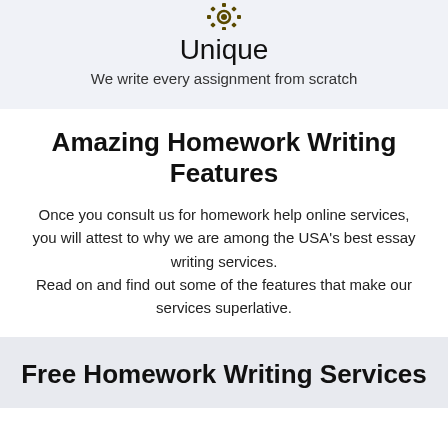[Figure (illustration): A gear/cog icon at the top of the page]
Unique
We write every assignment from scratch
Amazing Homework Writing Features
Once you consult us for homework help online services, you will attest to why we are among the USA's best essay writing services. Read on and find out some of the features that make our services superlative.
Free Homework Writing Services